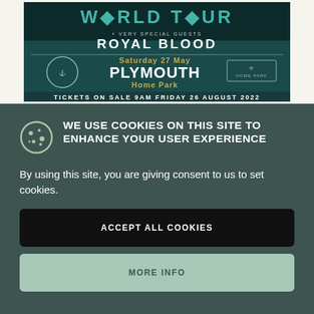[Figure (illustration): Concert advertisement banner for World Tour featuring Royal Blood, Saturday 27 May, Plymouth Home Park. Tickets on sale 9AM Friday 26 August 2022. Dark teal background with gold and white lettering, Plymouth Argyle badge logo.]
WE USE COOKIES ON THIS SITE TO ENHANCE YOUR USER EXPERIENCE
By using this site, you are giving consent to us to set cookies.
ACCEPT ALL COOKIES
MORE INFO